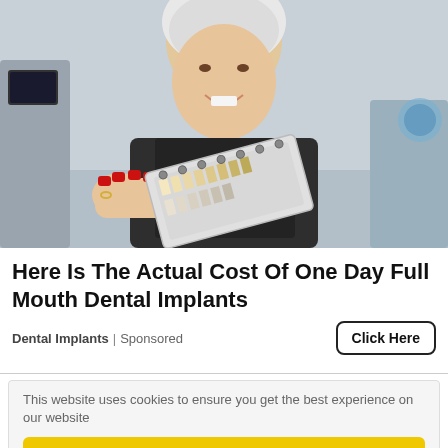[Figure (photo): An older woman with white hair sitting in a dental chair, smiling and holding a dental shade guide with red-painted fingernails. Dental office equipment visible in background.]
Here Is The Actual Cost Of One Day Full Mouth Dental Implants
Dental Implants | Sponsored
Click Here
This website uses cookies to ensure you get the best experience on our website
Got it!